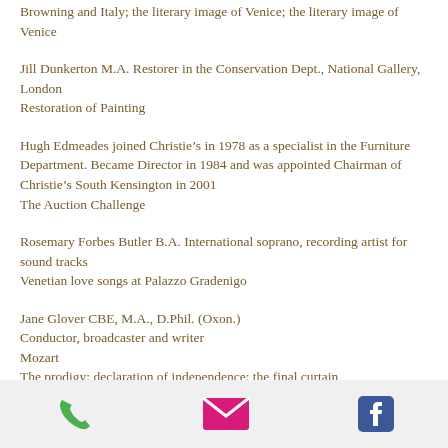Browning and Italy; the literary image of Venice; the literary image of Venice
Jill Dunkerton M.A. Restorer in the Conservation Dept., National Gallery, London
Restoration of Painting
Hugh Edmeades joined Christie’s in 1978 as a specialist in the Furniture Department. Became Director in 1984 and was appointed Chairman of Christie’s South Kensington in 2001
The Auction Challenge
Rosemary Forbes Butler B.A. International soprano, recording artist for sound tracks
Venetian love songs at Palazzo Gradenigo
Jane Glover CBE, M.A., D.Phil. (Oxon.)
Conductor, broadcaster and writer
Mozart
The prodigy; declaration of independence; the final curtain
Frances Harris
The bricks of Venice
[Figure (other): Footer bar with phone icon (green), email icon (pink/magenta), and Facebook icon (blue)]